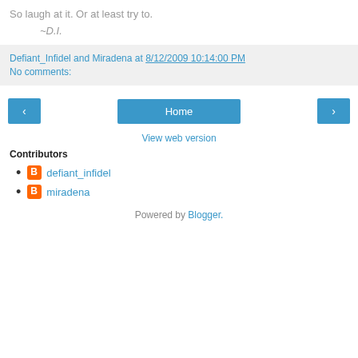So laugh at it. Or at least try to.
~D.I.
Defiant_Infidel and Miradena at 8/12/2009 10:14:00 PM
No comments:
< Home >
View web version
Contributors
defiant_infidel
miradena
Powered by Blogger.